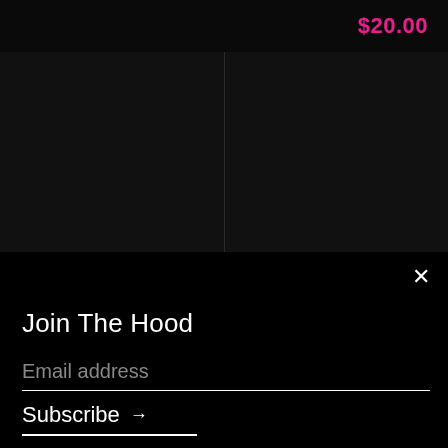$20.00
[Figure (photo): Two dark product image panels side by side, separated by a thin dividing line]
×
Join The Hood
Email address
Subscribe →